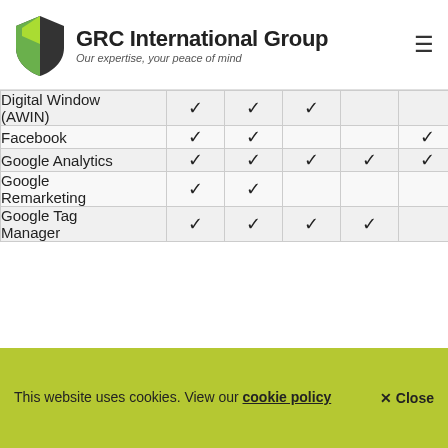GRC International Group — Our expertise, your peace of mind
|  | Col1 | Col2 | Col3 | Col4 | Col5 |
| --- | --- | --- | --- | --- | --- |
| Digital Window (AWIN) | ✔ | ✔ | ✔ |  |  |
| Facebook | ✔ | ✔ |  |  | ✔ |
| Google Analytics | ✔ | ✔ | ✔ | ✔ | ✔ |
| Google Remarketing | ✔ | ✔ |  |  |  |
| Google Tag Manager | ✔ | ✔ | ✔ | ✔ |  |
This website uses cookies. View our cookie policy   ✕ Close